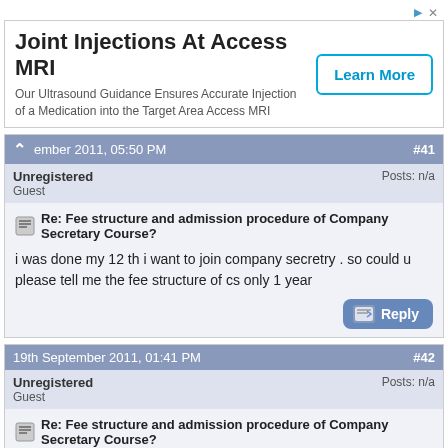[Figure (other): Advertisement banner for Joint Injections At Access MRI with Learn More button]
ember 2011, 05:50 PM  #41
Unregistered
Guest
Posts: n/a
Re: Fee structure and admission procedure of Company Secretary Course?
i was done my 12 th i want to join company secretry . so could u please tell me the fee structure of cs only 1 year
19th September 2011, 01:41 PM  #42
Unregistered
Guest
Posts: n/a
Re: Fee structure and admission procedure of Company Secretary Course?
I want to know complete course fees structure for CS
21st September 2011, 08:33 PM  #43